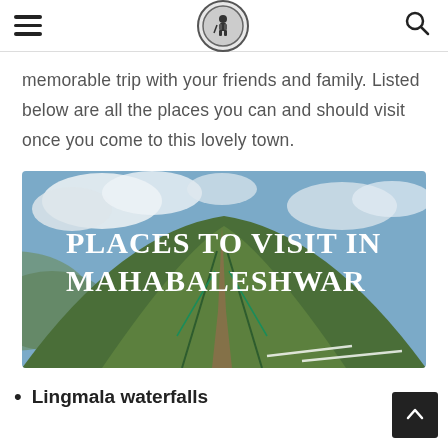[hamburger menu] [Nashangaj logo] [search icon]
memorable trip with your friends and family. Listed below are all the places you can and should visit once you come to this lovely town.
[Figure (photo): Scenic hilltop path in Mahabaleshwar with steps leading up a green hill, fenced pathway, blue sky with clouds. Overlaid text reads: PLACES TO VISIT IN MAHABALESHWAR]
Lingmala waterfalls